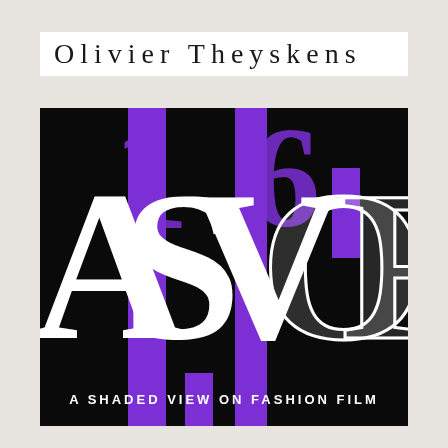Olivier Theyskens
[Figure (logo): ASVOF (A Shaded View on Fashion Film) logo on black background with large white serif letters A, S, V, O, F and purple vertical stripe accents with number 16, and text 'A SHADED VIEW ON FASHION FILM' at the bottom]